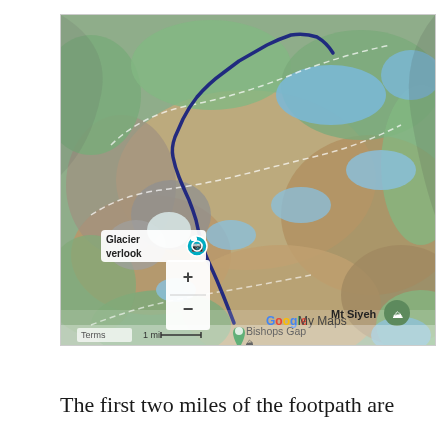[Figure (map): Google My Maps satellite/terrain view showing a hiking route (dark blue line) in Glacier National Park area. Labels visible include 'Glacier overlook', 'Mt Siyeh', 'Bishops Gap', 'Google My Maps', zoom controls (+/-), scale bar '1 mi', and 'Terms'.]
The first two miles of the footpath are